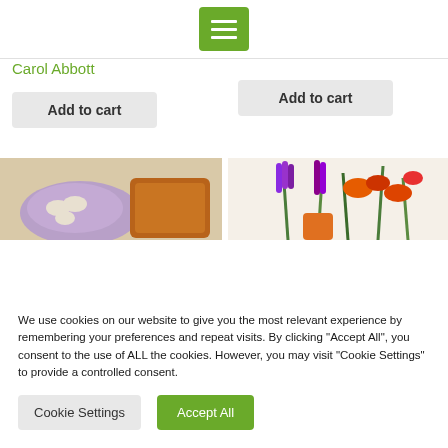Carol Abbott
Add to cart
Add to cart
[Figure (photo): Two product images partially visible: left shows a purple plate with dumplings and a brown tray, right shows a colorful floral painting with purple lavender and red/orange orchids.]
We use cookies on our website to give you the most relevant experience by remembering your preferences and repeat visits. By clicking "Accept All", you consent to the use of ALL the cookies. However, you may visit "Cookie Settings" to provide a controlled consent.
Cookie Settings
Accept All